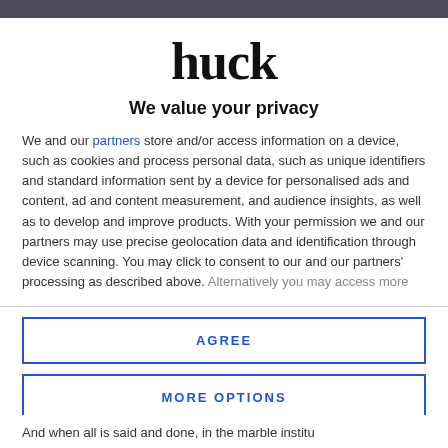huck
We value your privacy
We and our partners store and/or access information on a device, such as cookies and process personal data, such as unique identifiers and standard information sent by a device for personalised ads and content, ad and content measurement, and audience insights, as well as to develop and improve products. With your permission we and our partners may use precise geolocation data and identification through device scanning. You may click to consent to our and our partners' processing as described above. Alternatively you may access more
AGREE
MORE OPTIONS
And when all is said and done, in the marble institu